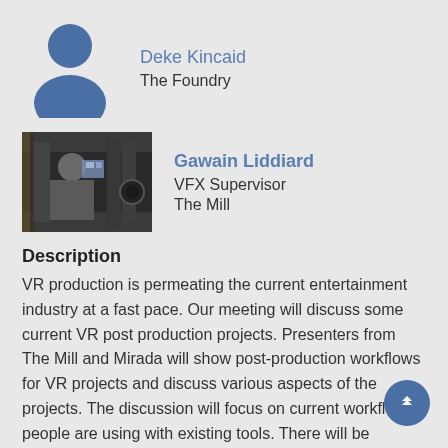[Figure (illustration): Blue silhouette placeholder avatar icon for Deke Kincaid]
Deke Kincaid
The Foundry
[Figure (photo): Photo of Gawain Liddiard, VFX Supervisor at The Mill, showing a person with camera equipment]
Gawain Liddiard
VFX Supervisor
The Mill
Description
VR production is permeating the current entertainment industry at a fast pace. Our meeting will discuss some current VR post production projects. Presenters from The Mill and Mirada will show post-production workflows for VR projects and discuss various aspects of the projects. The discussion will focus on current workflows people are using with existing tools. There will be GearVRs during social hour before the meeting starts so people can watch the piece